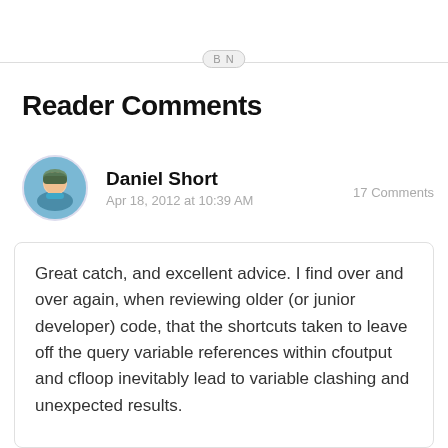BN
Reader Comments
Daniel Short
Apr 18, 2012 at 10:39 AM    17 Comments
Great catch, and excellent advice. I find over and over again, when reviewing older (or junior developer) code, that the shortcuts taken to leave off the query variable references within cfoutput and cfloop inevitably lead to variable clashing and unexpected results.